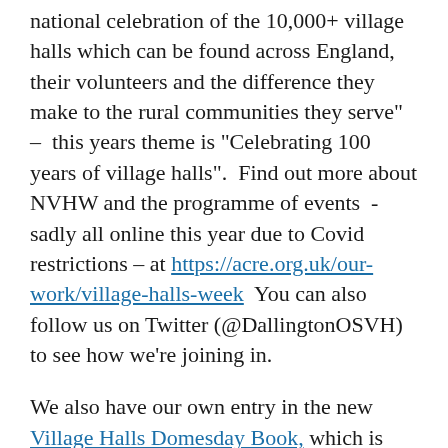national celebration of the 10,000+ village halls which can be found across England, their volunteers and the difference they make to the rural communities they serve" –  this years theme is "Celebrating 100 years of village halls".  Find out more about NVHW and the programme of events  -sadly all online this year due to Covid restrictions – at https://acre.org.uk/our-work/village-halls-week  You can also follow us on Twitter (@DallingtonOSVH) to see how we're joining in.
We also have our own entry in the new Village Halls Domesday Book, which is creating an online record "to demonstrate how important